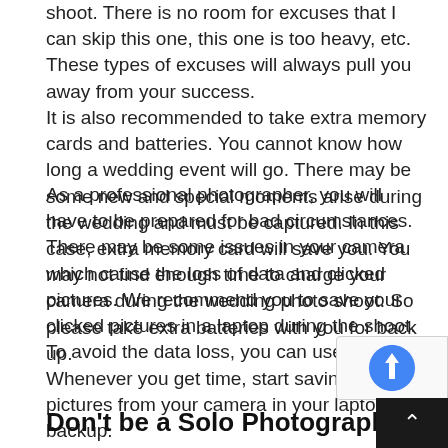shoot. There is no room for excuses that I can skip this one, this one is too heavy, etc. These types of excuses will always pull you away from your success.
It is also recommended to take extra memory cards and batteries. You cannot know how long a wedding event will go. There may be some new and special moments arise during the wedding and must be captured. In this case, extra memory card will save you. You may not find enough time to charge your camera during the wedding photo shoot. So please take extra batteries with you for back up.
As a professional photographer, you will have to be prepared for bad circumstances. There may be some issues in your camera which cause the loss of data and clicked pictures. We recommend you to save your clicked pictures in a laptop during the shoot. To avoid the data loss, you can use this step. Whenever you get time, start saving the click pictures from your camera in your laptop as backup.
Don't be a Solo Photographer: